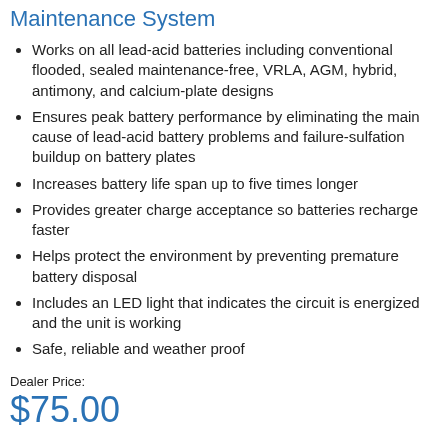Maintenance System
Works on all lead-acid batteries including conventional flooded, sealed maintenance-free, VRLA, AGM, hybrid, antimony, and calcium-plate designs
Ensures peak battery performance by eliminating the main cause of lead-acid battery problems and failure-sulfation buildup on battery plates
Increases battery life span up to five times longer
Provides greater charge acceptance so batteries recharge faster
Helps protect the environment by preventing premature battery disposal
Includes an LED light that indicates the circuit is energized and the unit is working
Safe, reliable and weather proof
Dealer Price:
$75.00